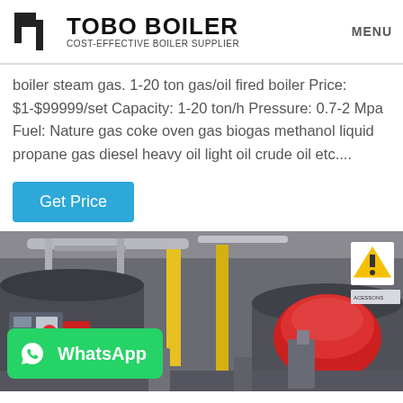TOBO BOILER — COST-EFFECTIVE BOILER SUPPLIER | MENU
boiler steam gas. 1-20 ton gas/oil fired boiler Price: $1-$99999/set Capacity: 1-20 ton/h Pressure: 0.7-2 Mpa Fuel: Nature gas coke oven gas biogas methanol liquid propane gas diesel heavy oil light oil crude oil etc....
Get Price
[Figure (photo): Industrial boiler room with gas/oil fired boilers, yellow piping, red burner components, control panels, and a WhatsApp overlay banner in green.]